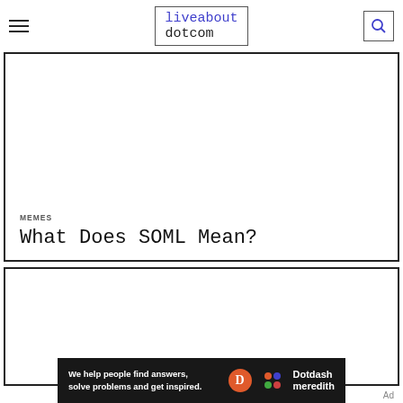liveabout dotcom
MEMES
What Does SOML Mean?
[Figure (other): Blank white card area (image placeholder)]
[Figure (other): Blank white card area (image placeholder)]
Ad
We help people find answers, solve problems and get inspired. Dotdash meredith